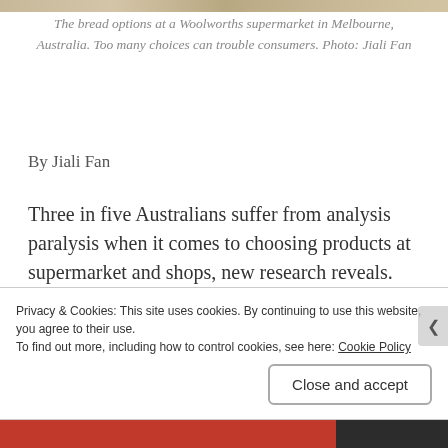[Figure (photo): Top strip of a photo showing bread options at a Woolworths supermarket in Melbourne, Australia.]
The bread options at a Woolworths supermarket in Melbourne, Australia. Too many choices can trouble consumers. Photo: Jiali Fan
By Jiali Fan
Three in five Australians suffer from analysis paralysis when it comes to choosing products at supermarket and shops, new research reveals.
Comparison website Choosi's research shows too much choice is making it harder to choose between similar options
Privacy & Cookies: This site uses cookies. By continuing to use this website, you agree to their use.
To find out more, including how to control cookies, see here: Cookie Policy
Close and accept